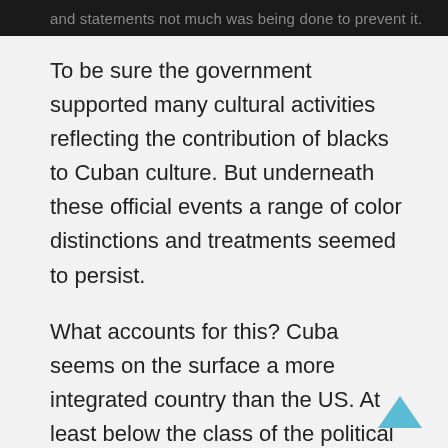and statements not much was being done to prevent it.
To be sure the government supported many cultural activities reflecting the contribution of blacks to Cuban culture. But underneath these official events a range of color distinctions and treatments seemed to persist.
What accounts for this? Cuba seems on the surface a more integrated country than the US. At least below the class of the political elites it appears so.